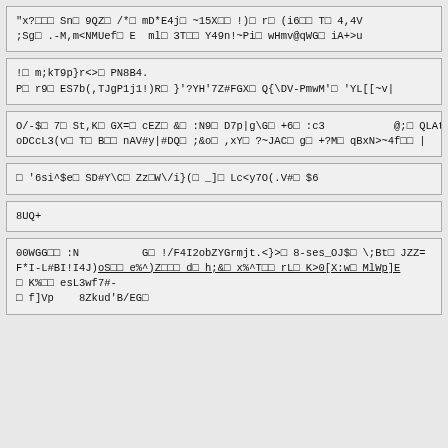"x?□□□ Sn□ 9QZ□ /*□ mD*E4j□ ~15X□□ !)□ r□ (i6□□ T□ 4,4V
;Sg□ .-M,m<NMUef□ E ml□ 3T□□ Y49n!~Pi□ wHmv@qWG□ iA+>u
!□ m;kT9p}r<>□ PN8B4.
P□ r9□ ES7b(,TJgP1j1!)R□ }'?YH'7Z#FGX□ Q{\DV-PmwM'□ 'YL[[~v|
O/-$□ 7□ St,K□ GX=□ cEZ□ &□ :N9□ D7p|g\G□ +6□ :c3           @;□ QLAt
oDCcL3(v□ T□ B□□ nAV#y|#DQ□ ;&o□ ,xY□ ?~JAC□ g□ +?M□ qBxN>~4f□□ |
□ '6si^$e□ SD#Y\C□ Zz□W\/i}(□ _]□ Lc<y7O(.V#□ $6
8UQ+
00WGG□□ :N          G□ !/F4I2obZYGrmjt.<}□ 8-ses_OJ$□ \;Bt□ JZZ=
F*I-L#BI!I4J)̲oS□□ e%^)Z□□□ d□ h;&□ x%^T□□ rL□ K>0[X:w□ MlWp]E
□ K%□□ esL3wf7#-
□ f]Vp    8Zkud'B/EG□